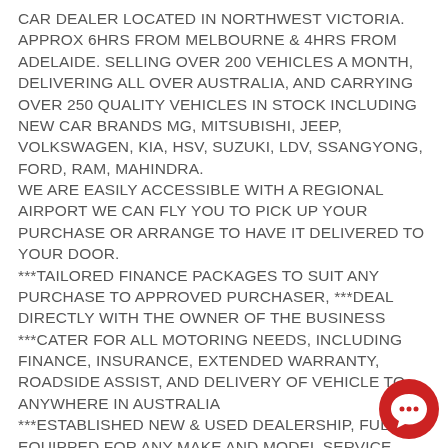CAR DEALER LOCATED IN NORTHWEST VICTORIA. APPROX 6HRS FROM MELBOURNE & 4HRS FROM ADELAIDE. SELLING OVER 200 VEHICLES A MONTH, DELIVERING ALL OVER AUSTRALIA, AND CARRYING OVER 250 QUALITY VEHICLES IN STOCK INCLUDING NEW CAR BRANDS MG, MITSUBISHI, JEEP, VOLKSWAGEN, KIA, HSV, SUZUKI, LDV, SSANGYONG, FORD, RAM, MAHINDRA.
WE ARE EASILY ACCESSIBLE WITH A REGIONAL AIRPORT WE CAN FLY YOU TO PICK UP YOUR PURCHASE OR ARRANGE TO HAVE IT DELIVERED TO YOUR DOOR.
***TAILORED FINANCE PACKAGES TO SUIT ANY PURCHASE TO APPROVED PURCHASER, ***DEAL DIRECTLY WITH THE OWNER OF THE BUSINESS
***CATER FOR ALL MOTORING NEEDS, INCLUDING FINANCE, INSURANCE, EXTENDED WARRANTY, ROADSIDE ASSIST, AND DELIVERY OF VEHICLE TO ANYWHERE IN AUSTRALIA
***ESTABLISHED NEW & USED DEALERSHIP, FULLY EQUIPPED FOR ANY MAKE AND MODEL SERVICE, PARTS, OR REPAIRS
***DEDICATED PROFESSIONAL STAFF ***WE GET BEHIND LOCAL CLUBS, EVENTS, ACTIVITIES, HELPING LOCAL PEOPLE,
[Figure (illustration): Red circular chat bubble icon in the bottom right corner]